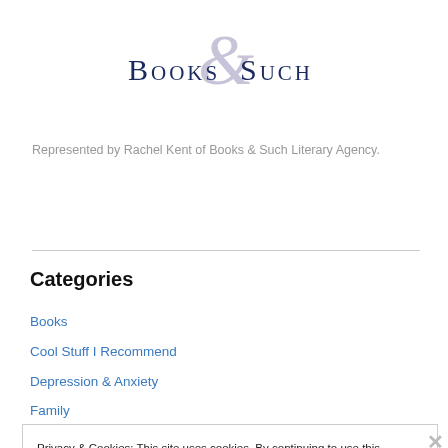[Figure (logo): Books & Such Literary Agency logo — serif text with decorative ampersand]
Represented by Rachel Kent of Books & Such Literary Agency.
Categories
Books
Cool Stuff I Recommend
Depression & Anxiety
Family
Privacy & Cookies: This site uses cookies. By continuing to use this website, you agree to their use.
To find out more, including how to control cookies, see here: Cookie Policy
Close and accept